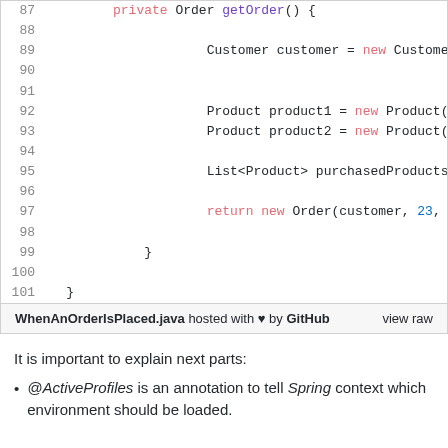[Figure (screenshot): GitHub Gist code snippet showing Java method getOrder() with line numbers 87-101. Code includes Customer and Product object creation, List<Product> declaration, and return statement. Footer shows WhenAnOrderIsPlaced.java hosted with heart by GitHub, view raw link.]
It is important to explain next parts:
@ActiveProfiles is an annotation to tell Spring context which environment should be loaded.